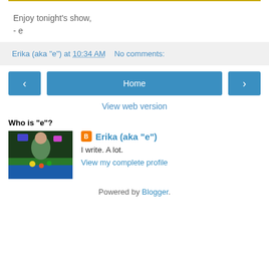Enjoy tonight's show,
- e
Erika (aka "e") at 10:34 AM   No comments:
‹  Home  ›
View web version
Who is "e"?
[Figure (photo): Profile photo of a person at a table with colorful items]
Erika (aka "e")
I write. A lot.
View my complete profile
Powered by Blogger.